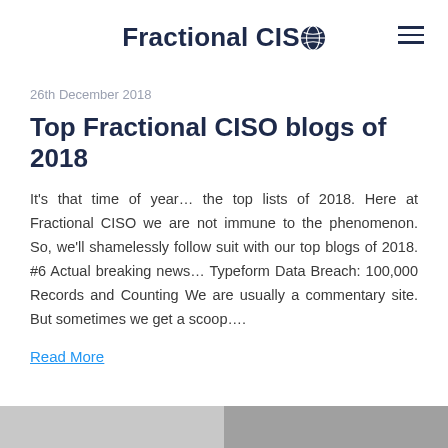Fractional CISO
26th December 2018
Top Fractional CISO blogs of 2018
It's that time of year… the top lists of 2018. Here at Fractional CISO we are not immune to the phenomenon. So, we'll shamelessly follow suit with our top blogs of 2018. #6 Actual breaking news… Typeform Data Breach: 100,000 Records and Counting We are usually a commentary site. But sometimes we get a scoop….
Read More
[Figure (photo): Partial image at bottom of page, partially visible]